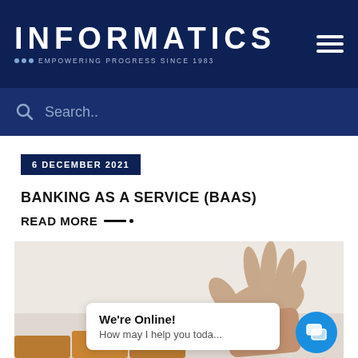INFORMATICS · EMPOWERING PROGRESS SINCE 1983
Search..
6 DECEMBER 2021
BANKING AS A SERVICE (BAAS)
READ MORE
[Figure (photo): A hand reaching down to pick up or place a wooden block, suggesting strategy or construction. A chat widget overlay reads 'We're Online! How may I help you toda...']